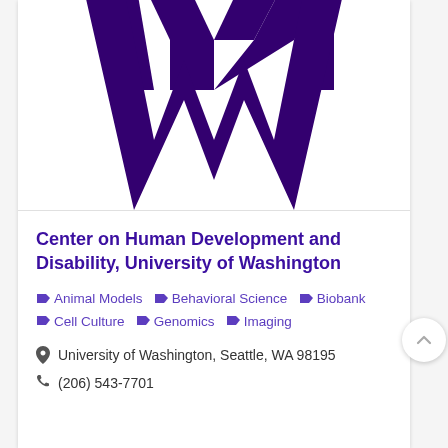[Figure (logo): University of Washington purple W logo, partially cropped at top]
Center on Human Development and Disability, University of Washington
Animal Models  Behavioral Science  Biobank  Cell Culture  Genomics  Imaging
University of Washington, Seattle, WA 98195
(206) 543-7701